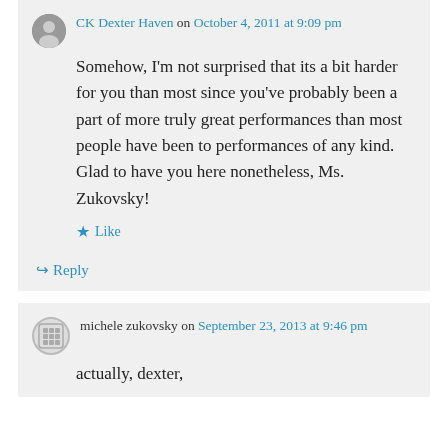CK Dexter Haven on October 4, 2011 at 9:09 pm
Somehow, I'm not surprised that its a bit harder for you than most since you've probably been a part of more truly great performances than most people have been to performances of any kind. Glad to have you here nonetheless, Ms. Zukovsky!
Like
Reply
michele zukovsky on September 23, 2013 at 9:46 pm
actually, dexter,